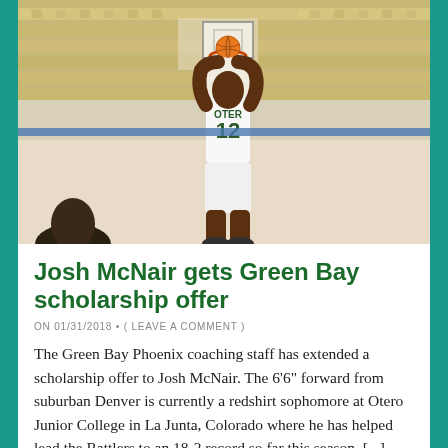[Figure (photo): Basketball player wearing jersey number 12 dunking a basketball through the hoop in an indoor gymnasium with tan/yellow bleacher seats visible in the background.]
Josh McNair gets Green Bay scholarship offer
ON 01/31/2018 • ( LEAVE A COMMENT )
The Green Bay Phoenix coaching staff has extended a scholarship offer to Josh McNair. The 6'6" forward from suburban Denver is currently a redshirt sophomore at Otero Junior College in La Junta, Colorado where he has helped lead the Rattlers to an 18-2 record so far this season. [...]